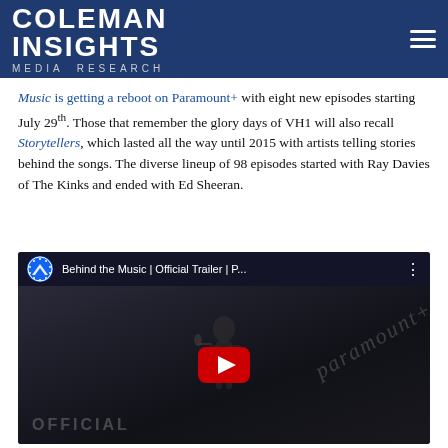COLEMAN INSIGHTS Media Research
Music is getting a reboot on Paramount+ with eight new episodes starting July 29th. Those that remember the glory days of VH1 will also recall Storytellers, which lasted all the way until 2015 with artists telling stories behind the songs. The diverse lineup of 98 episodes started with Ray Davies of The Kinks and ended with Ed Sheeran.
[Figure (screenshot): YouTube video thumbnail for 'Behind the Music | Official Trailer | P...' showing a performer with microphone on a dark stage, with a red YouTube play button in the center and 'OFFICIAL' text visible at the bottom. Paramount+ channel icon shown in top left.]